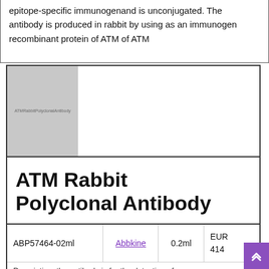epitope-specific immunogenand is unconjugated. The antibody is produced in rabbit by using as an immunogen recombinant protein of ATM of ATM
[Figure (photo): Product image placeholder for ATM Rabbit Polyclonal Antibody, grey box with label 'ATMRabbitPolyclonalAntibody']
ATM Rabbit Polyclonal Antibody
|  |  |  |  |
| --- | --- | --- | --- |
| ABP57464-02ml | Abbkine | 0.2ml | EUR 414 |
Description: the antibody is for the detection of...